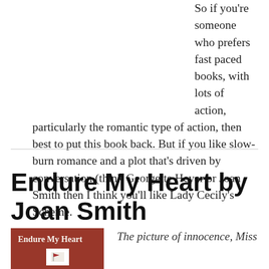So if you're someone who prefers fast paced books, with lots of action, particularly the romantic type of action, then best to put this book back. But if you like slow-burn romance and a plot that's driven by conversation (think Georgette Heyer or Joan Smith then I think you'll like Lady Cecily's Scheme.
Endure My Heart by Joan Smith
[Figure (illustration): Book cover of 'Endure My Heart' — dark red/maroon background with white serif title text and a small white rectangle containing a flag illustration at the bottom.]
The picture of innocence, Miss